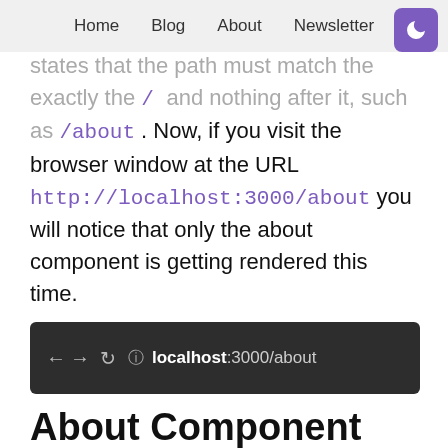Home   Blog   About   Newsletter
states that the path must match the exactly the / and nothing after it, such as /about . Now, if you visit the browser window at the URL http://localhost:3000/about you will notice that only the about component is getting rendered this time.
[Figure (screenshot): Browser address bar showing dark background with navigation arrows, reload icon, info icon, and URL: localhost:3000/about]
About Component